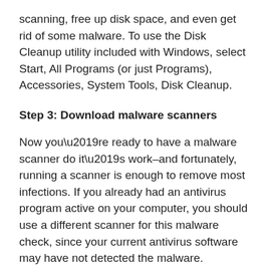scanning, free up disk space, and even get rid of some malware. To use the Disk Cleanup utility included with Windows, select Start, All Programs (or just Programs), Accessories, System Tools, Disk Cleanup.
Step 3: Download malware scanners
Now you’re ready to have a malware scanner do it’s work–and fortunately, running a scanner is enough to remove most infections. If you already had an antivirus program active on your computer, you should use a different scanner for this malware check, since your current antivirus software may have not detected the malware. Remember, no antivirus program can detect 100 per cent of the millions of malware types and variants.